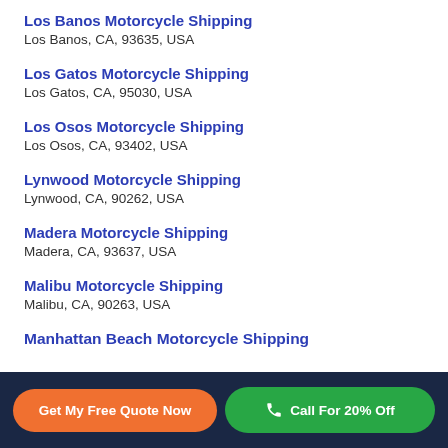Los Banos Motorcycle Shipping
Los Banos, CA, 93635, USA
Los Gatos Motorcycle Shipping
Los Gatos, CA, 95030, USA
Los Osos Motorcycle Shipping
Los Osos, CA, 93402, USA
Lynwood Motorcycle Shipping
Lynwood, CA, 90262, USA
Madera Motorcycle Shipping
Madera, CA, 93637, USA
Malibu Motorcycle Shipping
Malibu, CA, 90263, USA
Manhattan Beach Motorcycle Shipping
Get My Free Quote Now   Call For 20% Off